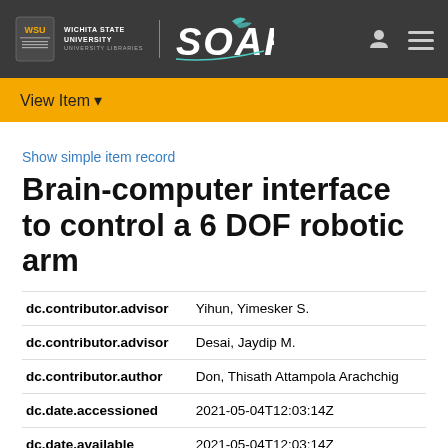Wichita State University SOAR
View Item
Show simple item record
Brain-computer interface to control a 6 DOF robotic arm
| Field | Value |
| --- | --- |
| dc.contributor.advisor | Yihun, Yimesker S. |
| dc.contributor.advisor | Desai, Jaydip M. |
| dc.contributor.author | Don, Thisath Attampola Arachchig |
| dc.date.accessioned | 2021-05-04T12:03:14Z |
| dc.date.available | 2021-05-04T12:03:14Z |